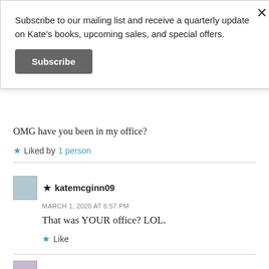Subscribe to our mailing list and receive a quarterly update on Kate's books, upcoming sales, and special offers.
Subscribe
OMG have you been in my office?
★ Liked by 1 person
★ katemcginn09
MARCH 1, 2020 AT 8:57 PM
That was YOUR office? LOL.
★ Like